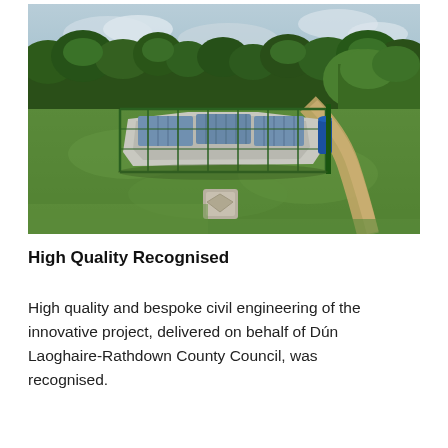[Figure (photo): Aerial-level outdoor photograph of a civil engineering water treatment or pump station installation. A concrete octagonal or rectangular structure with metal railings and blue/grey panel roofing is fenced with green metal fencing in the centre-background. Surrounding it is a large grassy green area. Dense green trees and bushes form the backdrop. A sandy dirt pathway curves to the right side. A square manhole cover is visible in the grass in the foreground.]
High Quality Recognised
High quality and bespoke civil engineering of the innovative project, delivered on behalf of Dún Laoghaire-Rathdown County Council, was recognised.